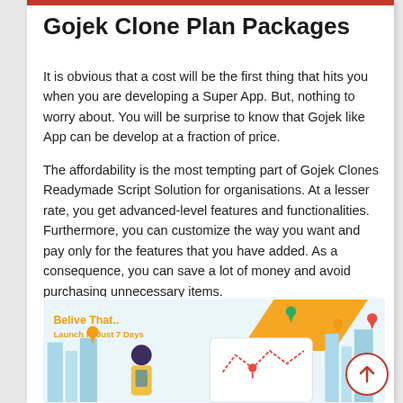Gojek Clone Plan Packages
It is obvious that a cost will be the first thing that hits you when you are developing a Super App. But, nothing to worry about. You will be surprise to know that Gojek like App can be develop at a fraction of price.
The affordability is the most tempting part of Gojek Clones Readymade Script Solution for organisations. At a lesser rate, you get advanced-level features and functionalities. Furthermore, you can customize the way you want and pay only for the features that you have added. As a consequence, you can save a lot of money and avoid purchasing unnecessary items.
[Figure (infographic): Promotional infographic with orange chevron shape, text 'Belive That.. Launch In Just 7 Days', map icons, city buildings, and a person using a phone with map navigation elements.]